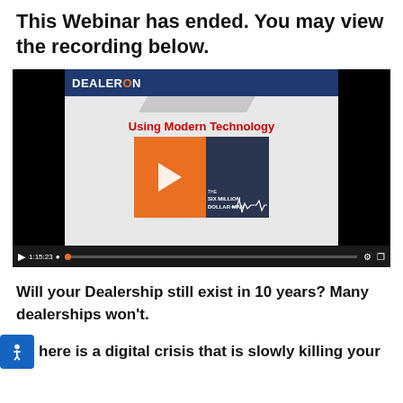This Webinar has ended. You may view the recording below.
[Figure (screenshot): Video player showing a DealerOn webinar recording titled 'Using Modern Technology' with a Six Million Dollar Man thumbnail. Play button visible. Controls show time 1:15:23.]
Will your Dealership still exist in 10 years? Many dealerships won't.
There is a digital crisis that is slowly killing your